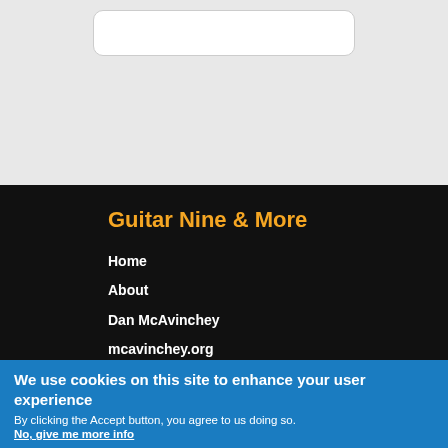[Figure (other): Search input box with rounded corners on a light gray background]
Guitar Nine & More
Home
About
Dan McAvinchey
mcavinchey.org
We use cookies on this site to enhance your user experience
By clicking the Accept button, you agree to us doing so.
No, give me more info